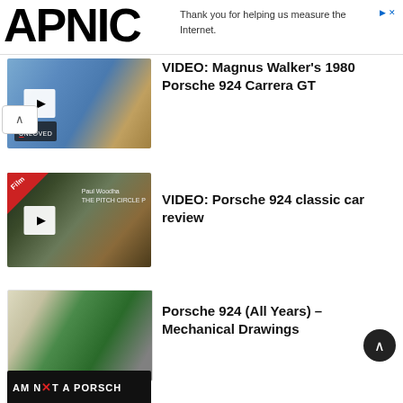[Figure (logo): APNIC logo in large bold black text]
Thank you for helping us measure the Internet.
[Figure (photo): Video thumbnail showing Magnus Walker with blue Porsche 924 Carrera GT, Unloved badge, play button]
VIDEO: Magnus Walker’s 1980 Porsche 924 Carrera GT
[Figure (photo): Video thumbnail showing Porsche 924 classic car with Paul Woodham text and Film badge, play button]
VIDEO: Porsche 924 classic car review
[Figure (illustration): Cutaway mechanical drawing of green Porsche 924 showing interior mechanics]
Porsche 924 (All Years) – Mechanical Drawings
[Figure (photo): Partial thumbnail showing AM NOT A PORSCH text in black and white with red element]